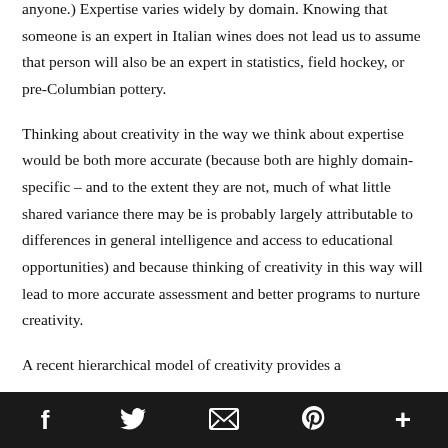anyone.) Expertise varies widely by domain. Knowing that someone is an expert in Italian wines does not lead us to assume that person will also be an expert in statistics, field hockey, or pre-Columbian pottery.
Thinking about creativity in the way we think about expertise would be both more accurate (because both are highly domain-specific – and to the extent they are not, much of what little shared variance there may be is probably largely attributable to differences in general intelligence and access to educational opportunities) and because thinking of creativity in this way will lead to more accurate assessment and better programs to nurture creativity.
A recent hierarchical model of creativity provides a
social share icons: Facebook, Twitter, Email, Pinterest, More